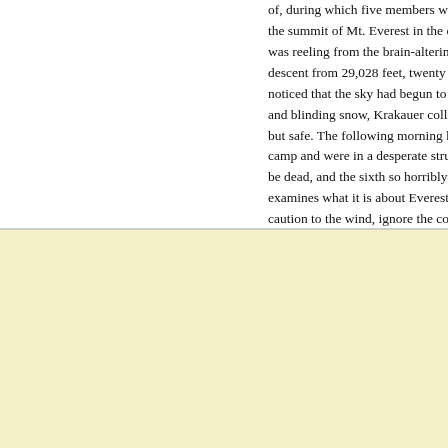of, during which five members were killed b the summit of Mt. Everest in the early aftern was reeling from the brain-altering effects o descent from 29,028 feet, twenty other clim noticed that the sky had begun to fill with cl and blinding snow, Krakauer collapsed in h but safe. The following morning he learned camp and were in a desperate struggle for be dead, and the sixth so horribly frostbitte examines what it is about Everest that has caution to the wind, ignore the concerns of hardship, and expense. Written with emotic
Aquest lloc utilitza galetes per a oferir els nostres serveis, millorar el
Hi estic d'acord
desenvolupament, per a anàlisis i (si no has iniciat la sessió) per a publicitat. Utilitzant LibraryThing acceptes que has llegit i entès els nostres Termes de servei i politica de privacitat. L'ús que facis del lloc i dels seus serveis està subjecte a aquestes politiques i termes.